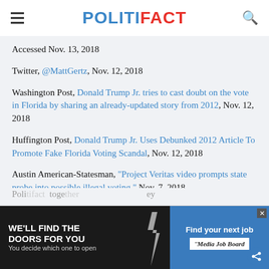POLITIFACT
Accessed Nov. 13, 2018
Twitter, @MattGertz, Nov. 12, 2018
Washington Post, Donald Trump Jr. tries to cast doubt on the vote in Florida by sharing an already-updated story from 2012, Nov. 12, 2018
Huffington Post, Donald Trump Jr. Uses Debunked 2012 Article To Promote Fake Florida Voting Scandal, Nov. 12, 2018
Austin American-Statesman, "Project Veritas video prompts state probe into possible illegal voting," Nov. 7, 2018
Poli[...] toge[...] ey